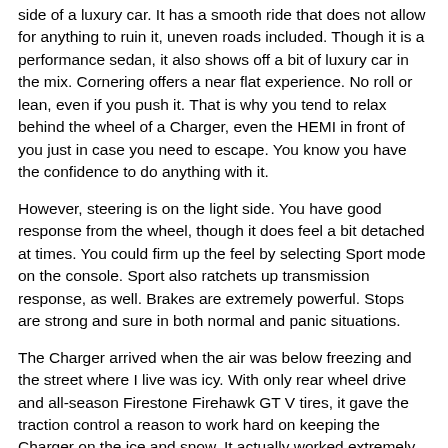side of a luxury car. It has a smooth ride that does not allow for anything to ruin it, uneven roads included. Though it is a performance sedan, it also shows off a bit of luxury car in the mix. Cornering offers a near flat experience. No roll or lean, even if you push it. That is why you tend to relax behind the wheel of a Charger, even the HEMI in front of you just in case you need to escape. You know you have the confidence to do anything with it.
However, steering is on the light side. You have good response from the wheel, though it does feel a bit detached at times. You could firm up the feel by selecting Sport mode on the console. Sport also ratchets up transmission response, as well. Brakes are extremely powerful. Stops are strong and sure in both normal and panic situations.
The Charger arrived when the air was below freezing and the street where I live was icy. With only rear wheel drive and all-season Firestone Firehawk GT V tires, it gave the traction control a reason to work hard on keeping the Charger on the ice and snow. It actually worked extremely well, giving the car a good fight.
The HEMI 5.7-liter V8 is not made for optimal fuel economy, even with the TorqueFlite eight-speed automatic. Our average was...